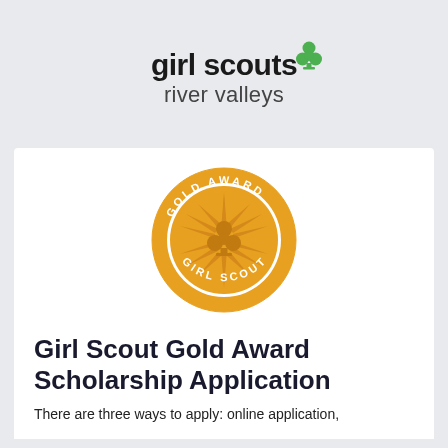[Figure (logo): Girl Scouts River Valleys logo with green trefoil icon above 'girl scouts' bold text and 'river valleys' below]
[Figure (illustration): Girl Scout Gold Award circular badge/medallion in gold color with trefoil and starburst design, text 'GOLD AWARD' at top and 'GIRL SCOUT' at bottom]
Girl Scout Gold Award Scholarship Application
There are three ways to apply: online application,